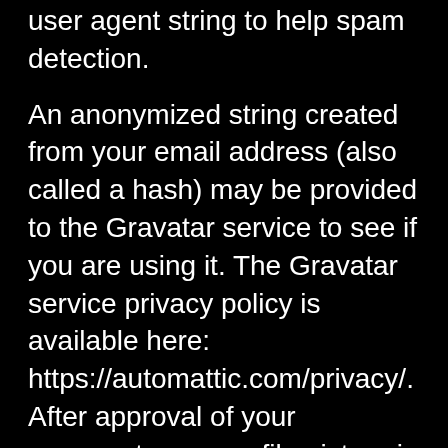user agent string to help spam detection.
An anonymized string created from your email address (also called a hash) may be provided to the Gravatar service to see if you are using it. The Gravatar service privacy policy is available here: https://automattic.com/privacy/. After approval of your comment, your profile picture is visible to the public in the context of your comment.
Media
If you upload images to the website, you should avoid including images with embedded location data (EXIF GPS) included.